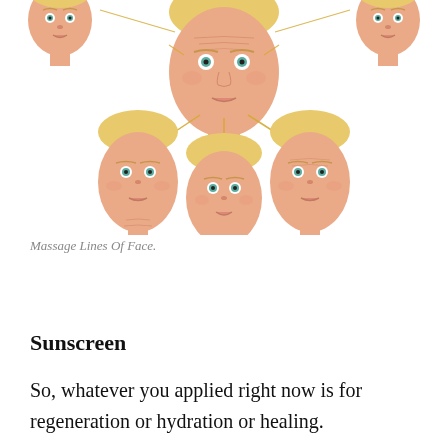[Figure (illustration): Illustration of massage lines of face showing multiple cartoon-style female faces with blonde hair arranged in a cluster, connected by golden/yellow lines indicating facial massage directions and zones.]
Massage Lines Of Face.
Sunscreen
So, whatever you applied right now is for regeneration or hydration or healing.